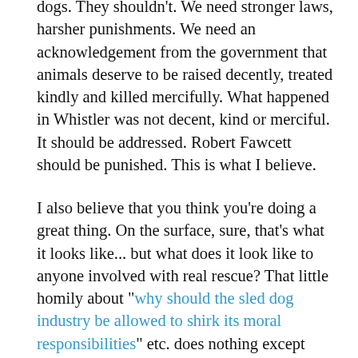dogs. They shouldn't. We need stronger laws, harsher punishments. We need an acknowledgement from the government that animals deserve to be raised decently, treated kindly and killed mercifully. What happened in Whistler was not decent, kind or merciful. It should be addressed. Robert Fawcett should be punished. This is what I believe.
I also believe that you think you're doing a great thing. On the surface, sure, that's what it looks like... but what does it look like to anyone involved with real rescue? That little homily about "why should the sled dog industry be allowed to shirk its moral responsibilities" etc. does nothing except convince me that you want to jump up and down, get something written on a piece of paper and write home to Mama in England that you done good... without the fuss and bother of actually taking steps to identify, obtain, rehabilitate and rehome